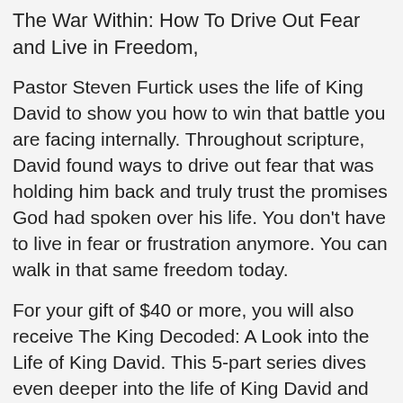The War Within: How To Drive Out Fear and Live in Freedom,
Pastor Steven Furtick uses the life of King David to show you how to win that battle you are facing internally. Throughout scripture, David found ways to drive out fear that was holding him back and truly trust the promises God had spoken over his life. You don't have to live in fear or frustration anymore. You can walk in that same freedom today.
For your gift of $40 or more, you will also receive The King Decoded: A Look into the Life of King David. This 5-part series dives even deeper into the life of King David and give you